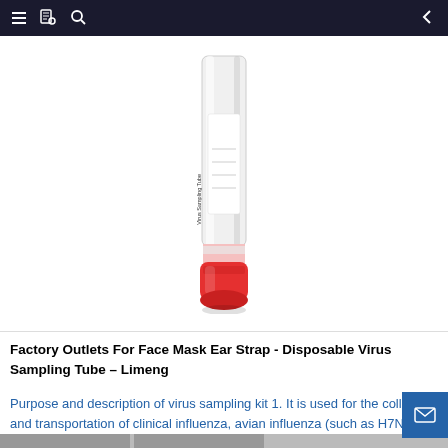≡  [book icon]  [search icon]  ← navigation bar
[Figure (photo): A disposable virus sampling tube with a white/transparent cylindrical body labeled 'Virus Sampling Tube' with fill lines, and a bright red cap at the bottom, shown on a white background.]
Factory Outlets For Face Mask Ear Strap - Disposable Virus Sampling Tube – Limeng
Purpose and description of virus sampling kit 1. It is used for the collection and transportation of clinical influenza, avian influenza (such as H7N9), hand-